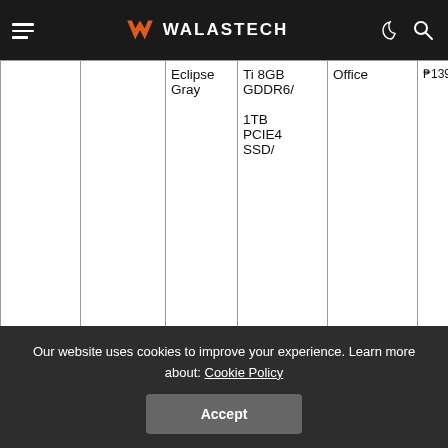WALASTECH
|  |  |  | Specs | Inclusions | Price |
| --- | --- | --- | --- | --- | --- |
|  |  | Eclipse Gray | Ti 8GB GDDR6/ 1TB PCIE4 SSD/ | Office | ₱139,995 |
| ROG Zephyrus G15 |  | GA503RM-HQ022W | 15" WQHD 165Hz/ Ryzen 7 6800HS/ 8GB x 2 DDR5/ | ROG Bac ROG Impact Gaming Mouse, Type-C PD Adapter |  |
Our website uses cookies to improve your experience. Learn more about: Cookie Policy
Accept